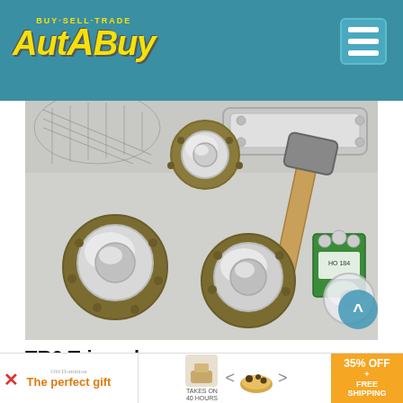AutaBuy BUY·SELL·TRADE
[Figure (photo): TR6 Triumph parts laid on a table: four chrome wire wheel adapters on round backing plates, a lead mallet/hammer with wooden handle, a silver tray, a green packaged part with label, and a glass headlight lens/basket.]
TR6 Triumph
$250
wire wheel adapters, lead mallet a wrench, baskets headlight
[Figure (infographic): Advertisement banner: 'The perfect gift' from Old Dominion with discount offer 35% OFF + FREE SHIPPING, showing food product images with navigation arrows.]